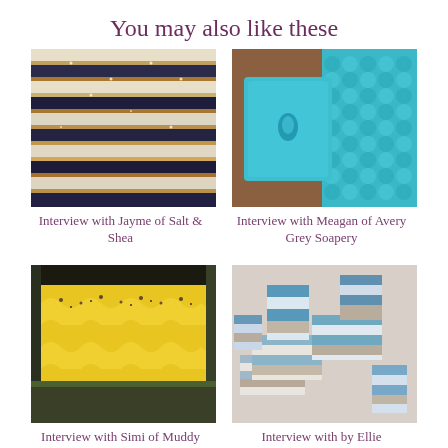You may also like these
[Figure (photo): Rows of striped soap bars viewed from above, showing alternating colors of beige, dark blue, and gold/yellow with sparkle]
Interview with Jayme of Salt & Shea
[Figure (photo): A turquoise/teal square soap bar with a water drop decoration on a textured blue background]
Interview with Meagan of Avery Grey Soapery
[Figure (photo): Yellow piped soap loaves topped with dried lavender flowers in a wooden mold]
Interview with Simi of Muddy Mint
[Figure (photo): Stacked blue and white striped soap bars with beige/tan accents]
Interview with by Ellie